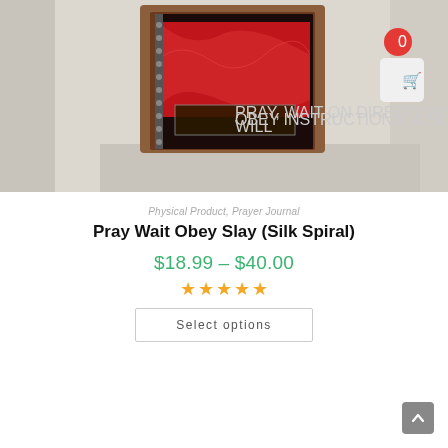[Figure (photo): Product photo of a prayer journal book titled 'Pray Wait Obey Slay (Silk Spiral)' displayed on a wooden surface with a dotted white background. The journal cover shows a person in red silk with high heels. A shopping cart icon with badge showing '0' is in the top-right corner.]
Physical Product, Prayer Journal
Pray Wait Obey Slay (Silk Spiral)
$18.99 – $40.00
[Figure (other): Five gold/orange star rating icons]
Select options